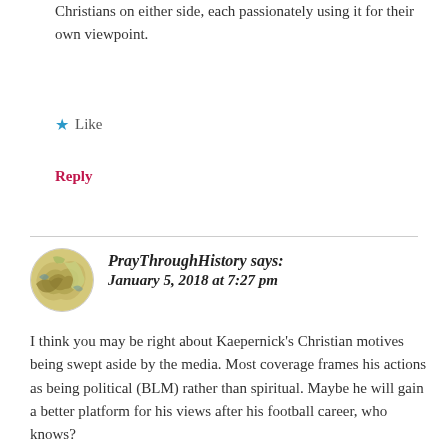Christians on either side, each passionately using it for their own viewpoint.
★ Like
Reply
PrayThroughHistory says: January 5, 2018 at 7:27 pm
I think you may be right about Kaepernick's Christian motives being swept aside by the media. Most coverage frames his actions as being political (BLM) rather than spiritual. Maybe he will gain a better platform for his views after his football career, who knows?
Can I go on a tangent?
What I do know about BLM is that they do not